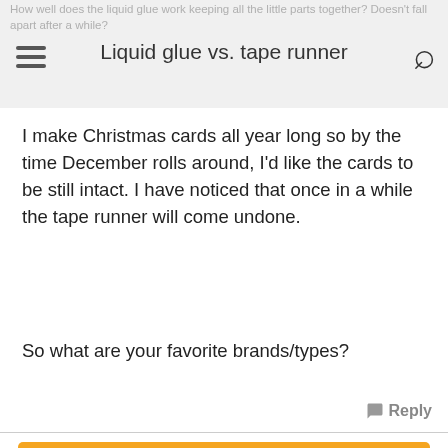How well does the liquid glue work keeping all the little parts together? Doesn't fall apart after a while?
Liquid glue vs. tape runner
I make Christmas cards all year long so by the time December rolls around, I'd like the cards to be still intact. I have noticed that once in a while the tape runner will come undone.
So what are your favorite brands/types?
💬 Reply
Reply
12-24-2017 11:10 AM by Benzi  #2
I use Scor-tape....love it. I never have a problem with anything coming apart when using it.